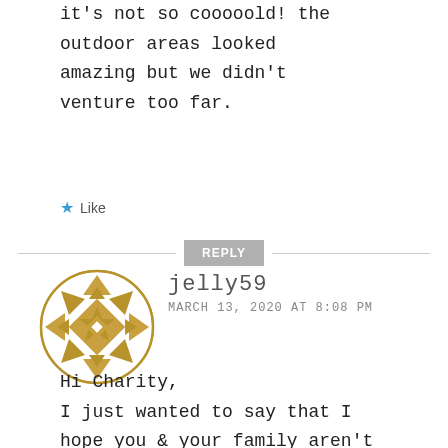it's not so cooooold! the outdoor areas looked amazing but we didn't venture too far.
★ Like
REPLY
[Figure (illustration): Circular avatar icon with gold/yellow decorative geometric quilt-star pattern on white background]
jelly59
MARCH 13, 2020 AT 8:08 PM
Hi Charity,
I just wanted to say that I hope you & your family aren't suffering from the Coronavirus